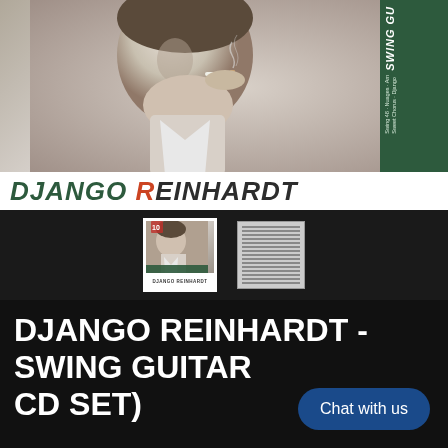[Figure (photo): Album cover for Django Reinhardt - Swing Guitar. Shows a black and white photo of Django Reinhardt smoking a cigarette, with a dark green panel on the right side showing text 'SWING GU...' and track listing including 'Swing 48', 'Nuages', 'Sweet Chorus', 'Django'. Artist name at bottom: DJANGO REINHARDT in large italic text, DJANGO in dark green and REINHARDT in dark color with R in orange-red.]
[Figure (photo): Small thumbnail of the album front cover showing Django Reinhardt portrait with white border and label at bottom reading DJANGO REINHARDT.]
[Figure (photo): Small thumbnail of the album back cover showing track listing text and barcode.]
DJANGO REINHARDT - SWING GUITAR (... CD SET)